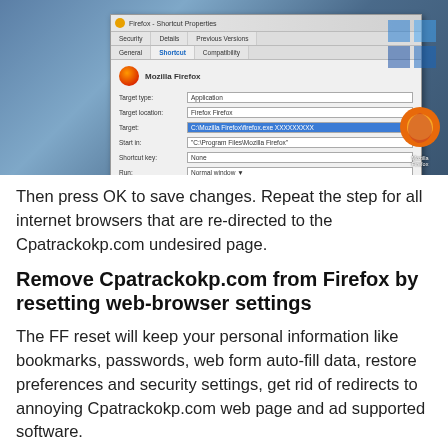[Figure (screenshot): Windows 10 desktop showing Firefox Properties dialog box with fields for Target type, Target location, Target, Start in, Shortcut key, and Run. The Target field is highlighted in blue.]
Then press OK to save changes. Repeat the step for all internet browsers that are re-directed to the Cpatrackokp.com undesired page.
Remove Cpatrackokp.com from Firefox by resetting web-browser settings
The FF reset will keep your personal information like bookmarks, passwords, web form auto-fill data, restore preferences and security settings, get rid of redirects to annoying Cpatrackokp.com web page and ad supported software.
First, run the Mozilla Firefox. Next, press